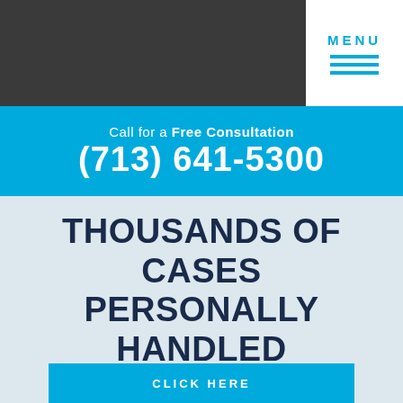MENU
Call for a Free Consultation
(713) 641-5300
THOUSANDS OF CASES PERSONALLY HANDLED
When it comes to criminal law, experience really matters. Put Paul's over 10 years of experience to work for you.
CLICK HERE